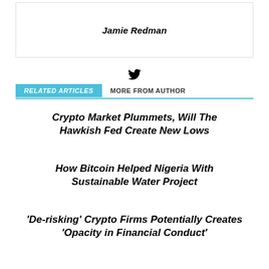Jamie Redman
[Figure (illustration): Twitter bird icon]
RELATED ARTICLES   MORE FROM AUTHOR
Crypto Market Plummets, Will The Hawkish Fed Create New Lows
How Bitcoin Helped Nigeria With Sustainable Water Project
'De-risking' Crypto Firms Potentially Creates 'Opacity in Financial Conduct'